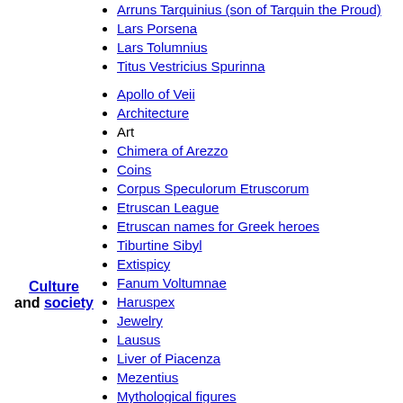Arruns Tarquinius (son of Tarquin the Proud)
Lars Porsena
Lars Tolumnius
Titus Vestricius Spurinna
Apollo of Veii
Architecture
Art
Chimera of Arezzo
Coins
Corpus Speculorum Etruscorum
Etruscan League
Etruscan names for Greek heroes
Tiburtine Sibyl
Extispicy
Fanum Voltumnae
Haruspex
Jewelry
Lausus
Liver of Piacenza
Mezentius
Mythological figures
Persius
Poppilia
Culture and society